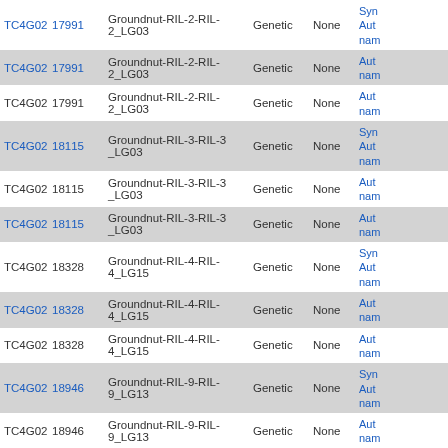|  |  | Map Name | Map Type | Units | Synonyms/Author/name |
| --- | --- | --- | --- | --- | --- |
| TC4G02 | 17991 | Groundnut-RIL-2-RIL-2_LG03 | Genetic | None | Syn
Aut
nam |
| TC4G02 | 17991 | Groundnut-RIL-2-RIL-2_LG03 | Genetic | None | Aut
nam |
| TC4G02 | 17991 | Groundnut-RIL-2-RIL-2_LG03 | Genetic | None | Aut
nam |
| TC4G02 | 18115 | Groundnut-RIL-3-RIL-3 _LG03 | Genetic | None | Syn
Aut
nam |
| TC4G02 | 18115 | Groundnut-RIL-3-RIL-3 _LG03 | Genetic | None | Aut
nam |
| TC4G02 | 18115 | Groundnut-RIL-3-RIL-3 _LG03 | Genetic | None | Aut
nam |
| TC4G02 | 18328 | Groundnut-RIL-4-RIL-4_LG15 | Genetic | None | Syn
Aut
nam |
| TC4G02 | 18328 | Groundnut-RIL-4-RIL-4_LG15 | Genetic | None | Aut
nam |
| TC4G02 | 18328 | Groundnut-RIL-4-RIL-4_LG15 | Genetic | None | Aut
nam |
| TC4G02 | 18946 | Groundnut-RIL-9-RIL-9_LG13 | Genetic | None | Syn
Aut
nam |
| TC4G02 | 18946 | Groundnut-RIL-9-RIL-9_LG13 | Genetic | None | Aut
nam |
| TC4G02 | 18946 | Groundnut-RIL-9-RIL-9_LG13 | Genetic | None | Aut
nam |